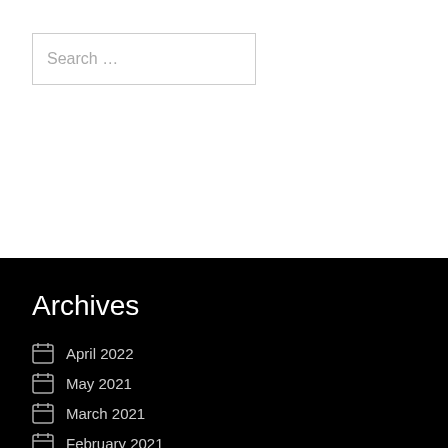Search …
Archives
April 2022
May 2021
March 2021
February 2021